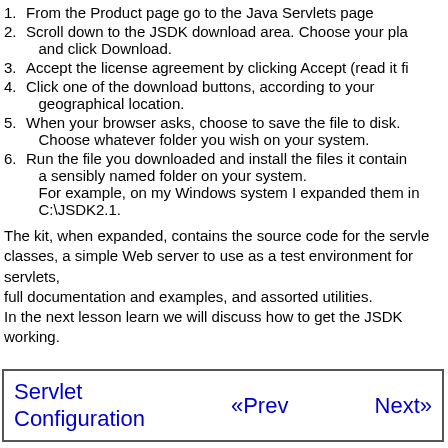1. From the Product page go to the Java Servlets page
2. Scroll down to the JSDK download area. Choose your pla and click Download.
3. Accept the license agreement by clicking Accept (read it fi
4. Click one of the download buttons, according to your geographical location.
5. When your browser asks, choose to save the file to disk. Choose whatever folder you wish on your system.
6. Run the file you downloaded and install the files it contain a sensibly named folder on your system. For example, on my Windows system I expanded them in C:\JSDK2.1.
The kit, when expanded, contains the source code for the servle classes, a simple Web server to use as a test environment for servlets, full documentation and examples, and assorted utilities. In the next lesson learn we will discuss how to get the JSDK working.
Servlet Configuration   «Prev   Next»